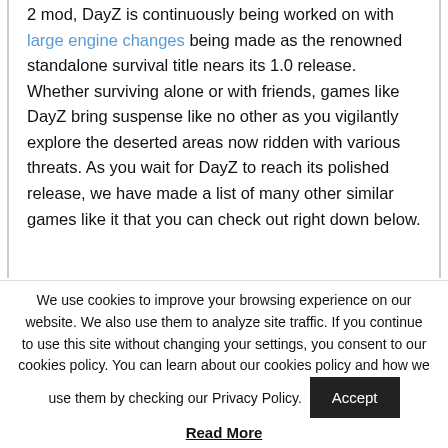2 mod, DayZ is continuously being worked on with large engine changes being made as the renowned standalone survival title nears its 1.0 release. Whether surviving alone or with friends, games like DayZ bring suspense like no other as you vigilantly explore the deserted areas now ridden with various threats. As you wait for DayZ to reach its polished release, we have made a list of many other similar games like it that you can check out right down below.
We use cookies to improve your browsing experience on our website. We also use them to analyze site traffic. If you continue to use this site without changing your settings, you consent to our cookies policy. You can learn about our cookies policy and how we use them by checking our Privacy Policy.
Read More